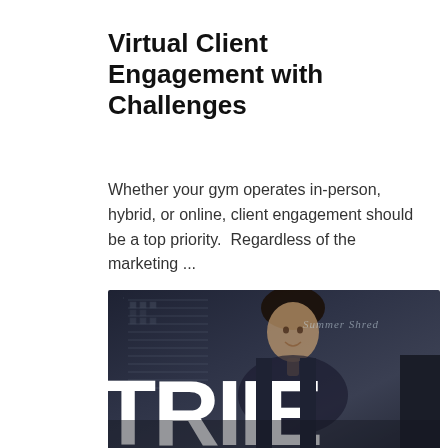Virtual Client Engagement with Challenges
Whether your gym operates in-person, hybrid, or online, client engagement should be a top priority.  Regardless of the marketing ...
[Figure (photo): Dark-toned photo of a smiling woman standing in front of a whiteboard or workout chart. Large white text 'TRIIBE' overlaid at the bottom. Text 'Summer Shred' visible in cursive on the right side background.]